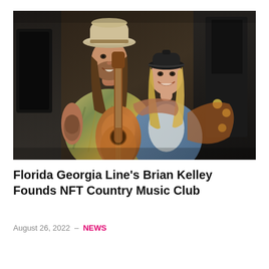[Figure (photo): A man wearing a cowboy hat with long hair holding a guitar, with a woman with blonde hair wearing a black cap and denim jacket, both smiling. The photo has a dark, warm-toned background.]
Florida Georgia Line's Brian Kelley Founds NFT Country Music Club
August 26, 2022  –  NEWS